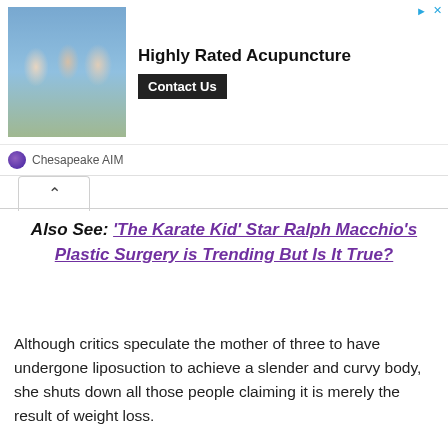[Figure (other): Advertisement banner for Highly Rated Acupuncture by Chesapeake AIM, featuring a photo of people embracing outdoors, a bold headline, and a 'Contact Us' button.]
Also See: 'The Karate Kid' Star Ralph Macchio's Plastic Surgery is Trending But Is It True?
Although critics speculate the mother of three to have undergone liposuction to achieve a slender and curvy body, she shuts down all those people claiming it is merely the result of weight loss.